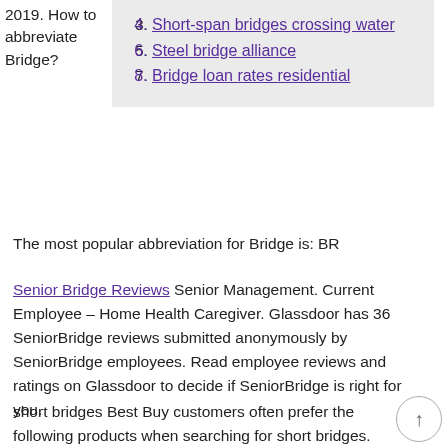2019. How to abbreviate Bridge? The most popular abbreviation for Bridge is: BR
3. Short-span bridges crossing water
4. Steel bridge alliance
5. Bridge loan rates residential
The most popular abbreviation for Bridge is: BR
Senior Bridge Reviews Senior Management. Current Employee – Home Health Caregiver. Glassdoor has 36 SeniorBridge reviews submitted anonymously by SeniorBridge employees. Read employee reviews and ratings on Glassdoor to decide if SeniorBridge is right for you.
short bridges Best Buy customers often prefer the following products when searching for short bridges. browse the top-ranked list of Short Bridges below along with associated reviews and opinions. The bridge